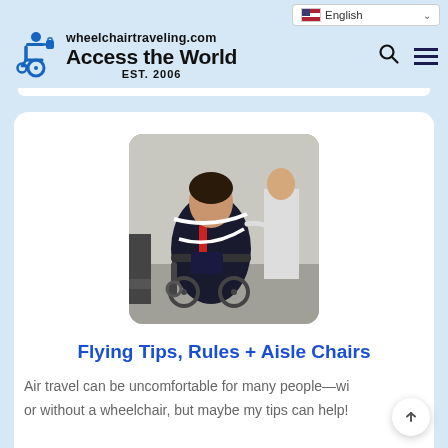wheelchairtraveling.com Access the World EST. 2006
[Figure (photo): Person seated in a wheelchair being assisted, wearing dark jacket with red harness straps, indoors]
Flying Tips, Rules + Aisle Chairs
Air travel can be uncomfortable for many people—with or without a wheelchair, but maybe my tips can help!